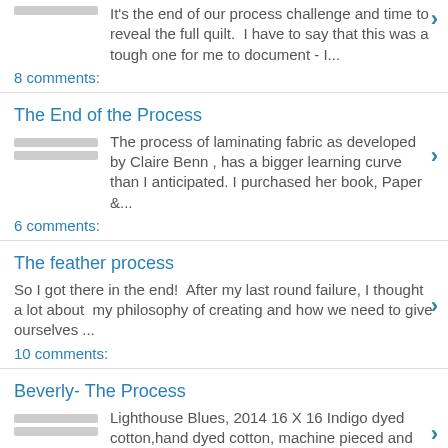It's the end of our process challenge and time to reveal the full quilt. I have to say that this was a tough one for me to document - I...
8 comments:
The End of the Process
The process of laminating fabric as developed by Claire Benn , has a bigger learning curve than I anticipated. I purchased her book, Paper &...
6 comments:
The feather process
So I got there in the end! After my last round failure, I thought a lot about my philosophy of creating and how we need to give ourselves ...
10 comments:
Beverly- The Process
Lighthouse Blues, 2014 16 X 16 Indigo dyed cotton,hand dyed cotton, machine pieced and quilted.I am feeling pretty ambivalent...